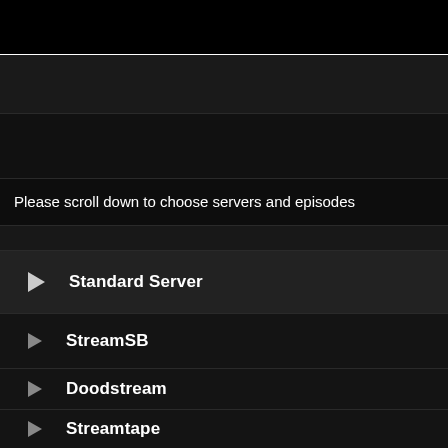Please scroll down to choose servers and episodes
▶ Standard Server
▶ StreamSB
▶ Doodstream
▶ Streamtape